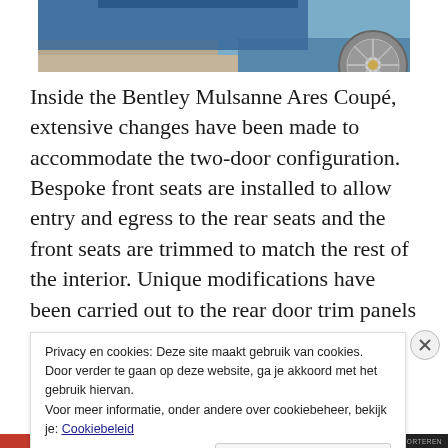[Figure (photo): Partial view of a blue Bentley Mulsanne Ares Coupé showing the wheel and lower body against a paved surface background.]
Inside the Bentley Mulsanne Ares Coupé, extensive changes have been made to accommodate the two-door configuration. Bespoke front seats are installed to allow entry and egress to the rear seats and the front seats are trimmed to match the rest of the interior. Unique modifications have been carried out to the rear door trim panels to fit the coupe body
Privacy en cookies: Deze site maakt gebruik van cookies. Door verder te gaan op deze website, ga je akkoord met het gebruik hiervan.
Voor meer informatie, onder andere over cookiebeheer, bekijk je: Cookiebeleid
Sluiten en bevestigen
DEZE ADVERTENTIE RAPPORTEREN